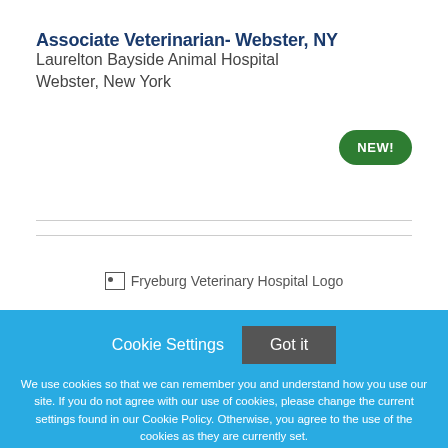Associate Veterinarian- Webster, NY
Laurelton Bayside Animal Hospital
Webster, New York
[Figure (logo): Fryeburg Veterinary Hospital Logo (broken image)]
Cookie Settings   Got it
We use cookies so that we can remember you and understand how you use our site. If you do not agree with our use of cookies, please change the current settings found in our Cookie Policy. Otherwise, you agree to the use of the cookies as they are currently set.